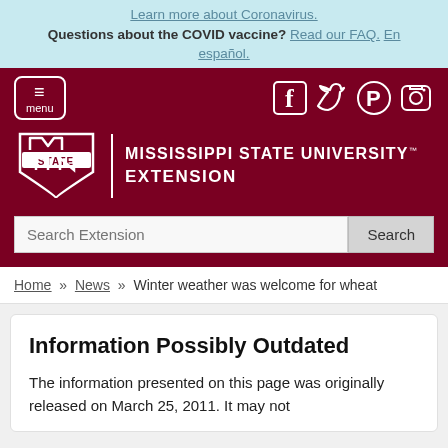Learn more about Coronavirus. Questions about the COVID vaccine? Read our FAQ. En español.
[Figure (screenshot): Mississippi State University Extension website header with maroon background, hamburger menu button, social media icons (Facebook, Twitter, Pinterest, Instagram), MSU logo with M State shield, and search bar.]
Home » News » Winter weather was welcome for wheat
Information Possibly Outdated
The information presented on this page was originally released on March 25, 2011. It may not